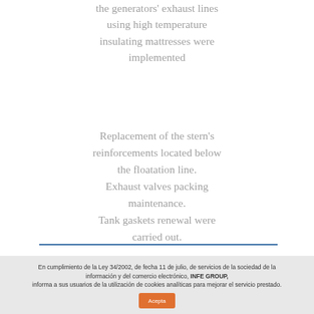the generators' exhaust lines using high temperature insulating mattresses were implemented
Replacement of the stern's reinforcements located below the floatation line. Exhaust valves packing maintenance. Tank gaskets renewal were carried out.
En cumplimiento de la Ley 34/2002, de fecha 11 de julio, de servicios de la sociedad de la información y del comercio electrónico, INFE GROUP, informa a sus usuarios de la utilización de cookies analíticas para mejorar el servicio prestado.